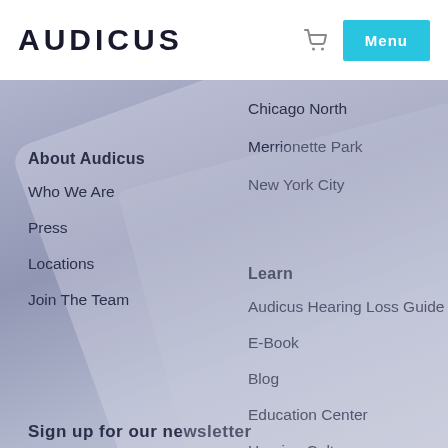AUDICUS
Chicago North
Merrionette Park
New York City
About Audicus
Who We Are
Press
Locations
Join The Team
Learn
Audicus Hearing Loss Guide
E-Book
Blog
Education Center
Hearing Culture
Sign up for our newsletter